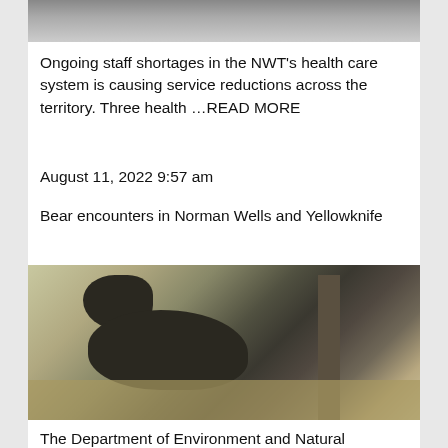[Figure (photo): Top partial image of a road/parking area, black and white]
Ongoing staff shortages in the NWT's health care system is causing service reductions across the territory. Three health …READ MORE
August 11, 2022 9:57 am
Bear encounters in Norman Wells and Yellowknife
[Figure (photo): Photo of a black bear foraging in tall dry grass near trees]
The Department of Environment and Natural